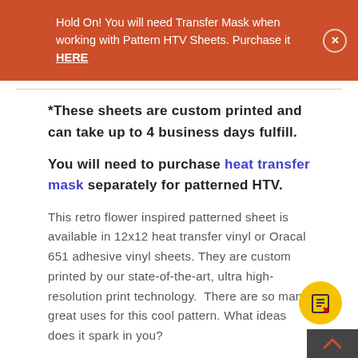Hold On! You will need Transfer Mask when working with Pattern HTV Sheets. Purchase it HERE
*These sheets are custom printed and can take up to 4 business days fulfill.
You will need to purchase heat transfer mask separately for patterned HTV.
This retro flower inspired patterned sheet is available in 12x12 heat transfer vinyl or Oracal 651 adhesive vinyl sheets. They are custom printed by our state-of-the-art, ultra high-resolution print technology. There are so many great uses for this cool pattern. What ideas does it spark in you?